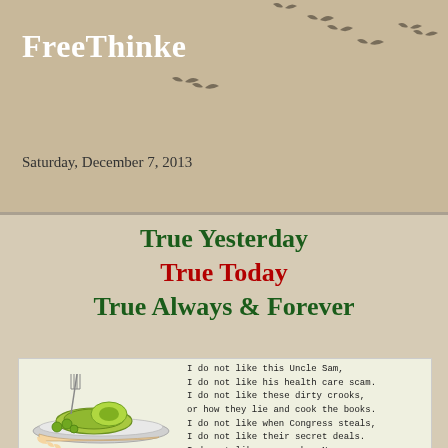FreeThinke
Saturday, December 7, 2013
True Yesterday
True Today
True Always & Forever
[Figure (illustration): Cartoon illustration of green eggs and ham on a plate with a fork, referencing Dr. Seuss style, accompanied by a political parody poem text: 'I do not like this Uncle Sam, I do not like his health care scam. I do not like these dirty crooks, or how they lie and cook the books. I do not like when Congress steals, I do not like their secret deals. I do not like ex-speaker Nan...']